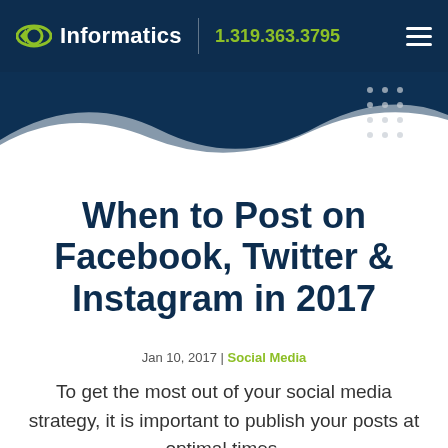Informatics | 1.319.363.3795
When to Post on Facebook, Twitter & Instagram in 2017
Jan 10, 2017 | Social Media
To get the most out of your social media strategy, it is important to publish your posts at optimal times.